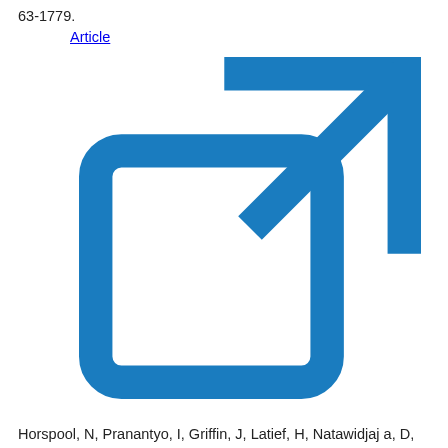63-1779.
Article
Horspool, N, Pranantyo, I, Griffin, J, Latief, H, Natawidjaja, D, Kongko, W, Cipta, A, Bustaman, B, Anugrah, SD, Thio, H. (2014). A probabilistic tsunami hazard assessment for Indonesia, Natural Hazards and Earth System Sciences, 14(11):3105-3122.
Article
Japan Society of Civil Engineers. (2008). Survey result on the weight of logic trees, (in japanese)..
Japan Society of Civil Engineers. (2016). Tsunami assessment technique for Nuclear Power Plant 2016, (in japanese)..
Lorito, S, Selva, J, Basili, R, Romano, F, Tiberti, MM, Piatanesi, A. (2014). Probabilistic hazard for seismically induced tsunamis: accuracy and feasibility of inundation maps, Geophysical Journal International, 200(1):574-588.
Article